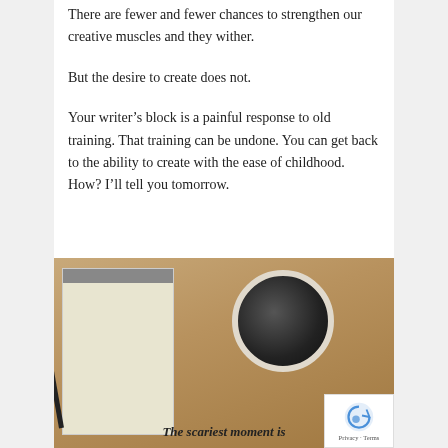There are fewer and fewer chances to strengthen our creative muscles and they wither.
But the desire to create does not.
Your writer’s block is a painful response to old training. That training can be undone. You can get back to the ability to create with the ease of childhood. How? I’ll tell you tomorrow.
[Figure (photo): A spiral-bound notepad and a cup of black coffee on a wooden table, with a pen beside the notepad. Text overlay at the bottom reads 'The scariest moment is']
The scariest moment is